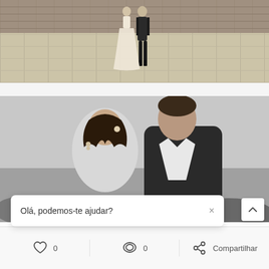[Figure (photo): Wedding couple photo from above - bride in white dress and groom standing on stone paved terrace with stone wall behind them, color photo]
[Figure (photo): Black and white photo of a bride and groom couple in close embrace, smiling, with ocean/beach and stone wall in background]
Olá, podemos-te ajudar?
0  0  Compartilhar